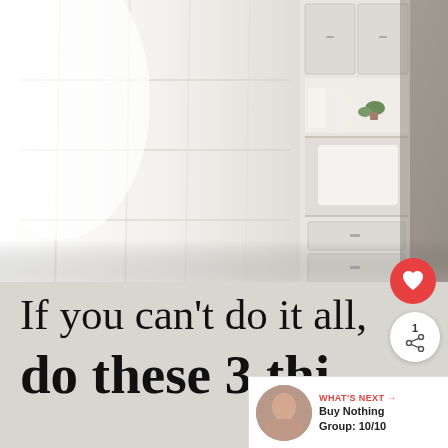[Figure (photo): Interior photo of a white bathroom with white curtains on the left and white shelving/cabinet unit on the right with a small plant, light and airy.]
If you can't do it all, do these 3 thi...
WHAT'S NEXT → Buy Nothing Group: 10/10